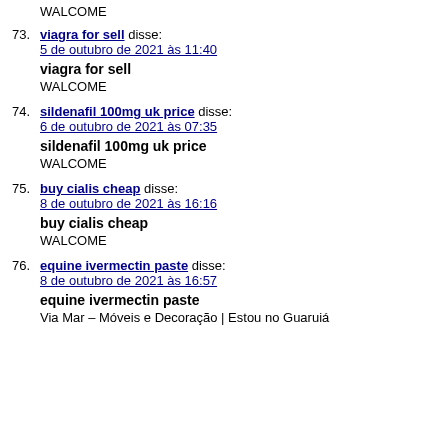WALCOME
73. viagra for sell disse:
5 de outubro de 2021 às 11:40
viagra for sell
WALCOME
74. sildenafil 100mg uk price disse:
6 de outubro de 2021 às 07:35
sildenafil 100mg uk price
WALCOME
75. buy cialis cheap disse:
8 de outubro de 2021 às 16:16
buy cialis cheap
WALCOME
76. equine ivermectin paste disse:
8 de outubro de 2021 às 16:57
equine ivermectin paste
Via Mar – Móveis e Decoração | Estou no Guaruiá